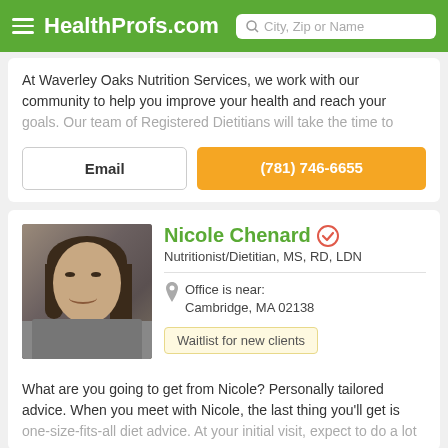HealthProfs.com
At Waverley Oaks Nutrition Services, we work with our community to help you improve your health and reach your goals. Our team of Registered Dietitians will take the time to
Email
(781) 746-6655
Nicole Chenard
Nutritionist/Dietitian, MS, RD, LDN
Office is near: Cambridge, MA 02138
Waitlist for new clients
[Figure (photo): Profile photo of Nicole Chenard, a woman with dark brown hair, smiling, wearing a gray patterned blazer, against a dark background.]
What are you going to get from Nicole? Personally tailored advice. When you meet with Nicole, the last thing you'll get is one-size-fits-all diet advice. At your initial visit, expect to do a lot